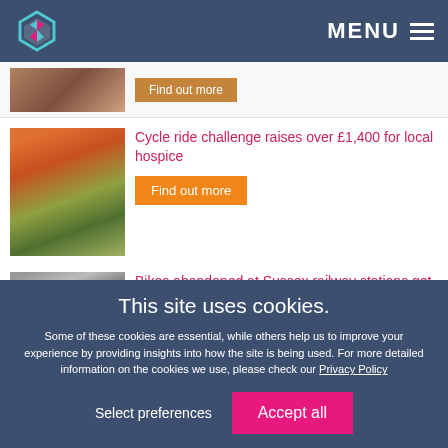MENU
[Figure (photo): Partially visible news item image with Find out more button]
Cycle ride challenge raises over £1,400 for local hospice
Find out more
Bikes abandoned at Sussex railway stations get new life in Brighton
Find out more
This site uses cookies.
Some of these cookies are essential, while others help us to improve your experience by providing insights into how the site is being used. For more detailed information on the cookies we use, please check our Privacy Policy
Select preferences
Accept all